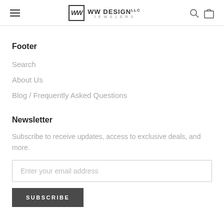WW DESIGN JEWELERS — navigation header with hamburger menu, logo, search and cart icons
Footer
Search
About Us
Blog / Frequently Asked Questions
Newsletter
Subscribe to receive updates, access to exclusive deals, and more.
Enter your email address
SUBSCRIBE